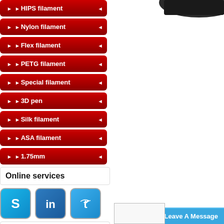HIPS filament
Nylon filament
Flex filament
PETG filament
Special filament
3D pen
Silk filament
ASA filament
1.75mm
Online services
[Figure (logo): Skype logo icon - blue square with S letter]
[Figure (logo): LinkedIn logo icon - blue square with 'in' letters]
[Figure (logo): Twitter logo icon - blue square with bird/t letter]
Contact Us
[Figure (logo): Phone icon - orange square with phone symbol]
[Figure (logo): Fax icon - purple/grey square with fax symbol]
[Figure (logo): Email icon - red square with envelope symbol]
[Figure (screenshot): Product image - dark filament spool partial view at top right]
Leave A Message